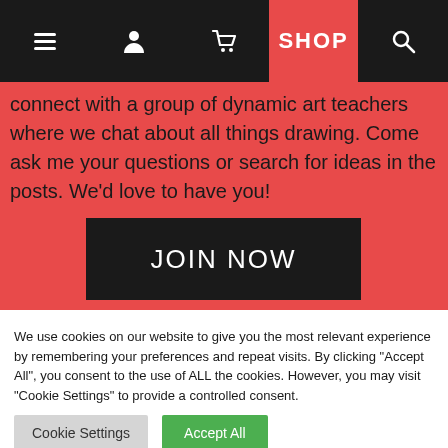SHOP
connect with a group of dynamic art teachers where we chat about all things drawing. Come ask me your questions or search for ideas in the posts. We'd love to have you!
JOIN NOW
We use cookies on our website to give you the most relevant experience by remembering your preferences and repeat visits. By clicking "Accept All", you consent to the use of ALL the cookies. However, you may visit "Cookie Settings" to provide a controlled consent.
Cookie Settings
Accept All